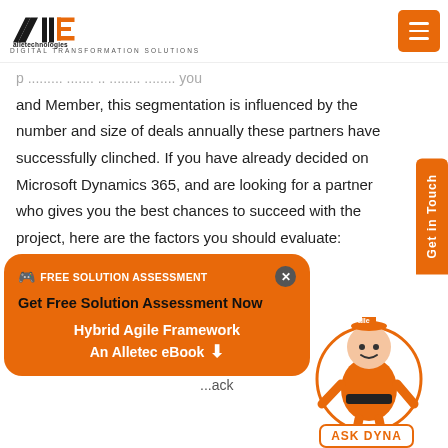[Figure (logo): Alle Technologies logo with text 'alletechnologies' and tagline 'DIGITAL TRANSFORMATION SOLUTIONS']
and Member, this segmentation is influenced by the number and size of deals annually these partners have successfully clinched. If you have already decided on Microsoft Dynamics 365, and are looking for a partner who gives you the best chances to succeed with the project, here are the factors you should evaluate:
1. Product Competency
2. Industry Experience
[Figure (infographic): Orange popup banner with FREE SOLUTION ASSESSMENT header, 'Get Free Solution Assessment Now' CTA, and 'Hybrid Agile Framework An Alletec eBook' download prompt]
[Figure (illustration): Dyna mascot robot character in orange with ASK DYNA label below]